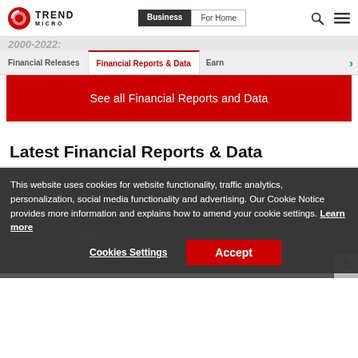Trend Micro — Business | For Home
2000-2022.
Financial Releases | Financial Reports & Data | Earn
See all Financial Reports and Data
Latest Financial Reports & Data
2022
Read PDF
Presentation by Mahendra Negi CFO, Representative Director
Read PDF  Audio
This website uses cookies for website functionality, traffic analytics, personalization, social media functionality and advertising. Our Cookie Notice provides more information and explains how to amend your cookie settings. Learn more
Cookies Settings  Accept